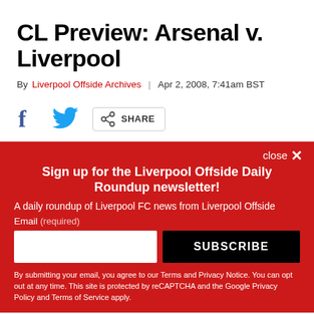CL Preview: Arsenal v. Liverpool
By Liverpool Offside Archives | Apr 2, 2008, 7:41am BST
[Figure (other): Social share bar with Facebook icon, Twitter icon, and a share button]
close ✕
Sign up for the Liverpool Offside Daily Roundup newsletter!
A daily roundup of Liverpool FC news from Liverpool Offside
Email (required)
SUBSCRIBE
By submitting your email, you agree to our Terms and Privacy Notice. You can opt out at any time. This site is protected by reCAPTCHA and the Google Privacy Policy and Terms of Service apply.